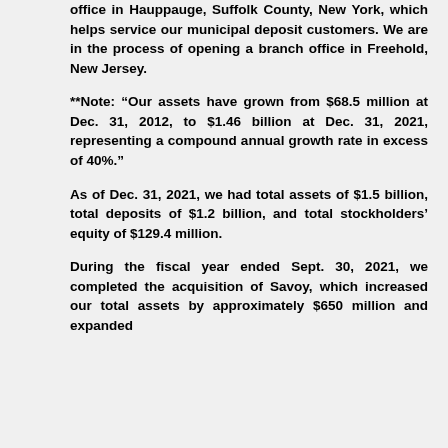office in Hauppauge, Suffolk County, New York, which helps service our municipal deposit customers. We are in the process of opening a branch office in Freehold, New Jersey.
**Note: "Our assets have grown from $68.5 million at Dec. 31, 2012, to $1.46 billion at Dec. 31, 2021, representing a compound annual growth rate in excess of 40%."
As of Dec. 31, 2021, we had total assets of $1.5 billion, total deposits of $1.2 billion, and total stockholders' equity of $129.4 million.
During the fiscal year ended Sept. 30, 2021, we completed the acquisition of Savoy, which increased our total assets by approximately $650 million and expanded